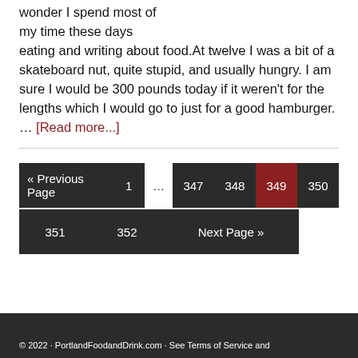wonder I spend most of my time these days eating and writing about food.At twelve I was a bit of a skateboard nut, quite stupid, and usually hungry. I am sure I would be 300 pounds today if it weren't for the lengths which I would go to just for a good hamburger. … [Read more...]
« Previous Page  1  …  347  348  349  350  351  352  Next Page »
© 2022 · PortlandFoodandDrink.com · See Terms of Service and